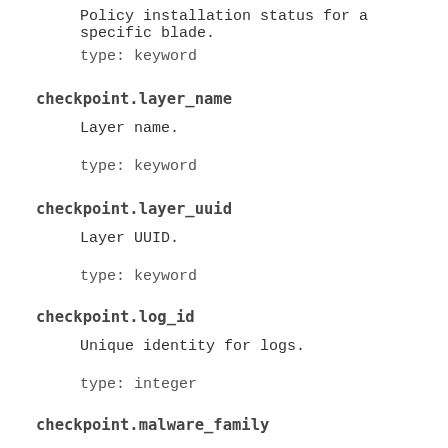Policy installation status for a specific blade.
type: keyword
checkpoint.layer_name
Layer name.
type: keyword
checkpoint.layer_uuid
Layer UUID.
type: keyword
checkpoint.log_id
Unique identity for logs.
type: integer
checkpoint.malware_family